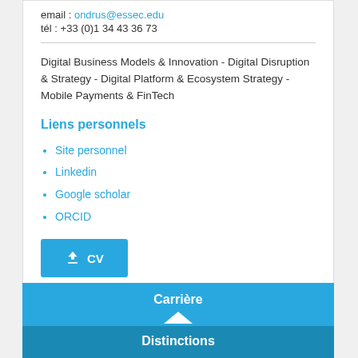email : ondrus@essec.edu
tél : +33 (0)1 34 43 36 73
Digital Business Models & Innovation - Digital Disruption & Strategy - Digital Platform & Ecosystem Strategy - Mobile Payments & FinTech
Liens personnels
Site personnel
Linkedin
Google scholar
ORCID
CV
Carrière
Distinctions